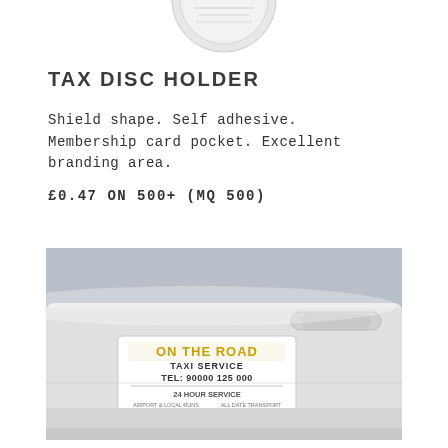[Figure (illustration): Partial circular/shield shaped tax disc holder shown at top of page, white with faint text]
TAX DISC HOLDER
Shield shape. Self adhesive. Membership card pocket. Excellent branding area.
£0.47 ON 500+ (MQ 500)
[Figure (photo): Photo of a white car door with a rectangular sign/magnet attached showing 'ON THE ROAD TAXI SERVICE TEL: 90000 125 000 24 HOUR SERVICE' in yellow and black text]